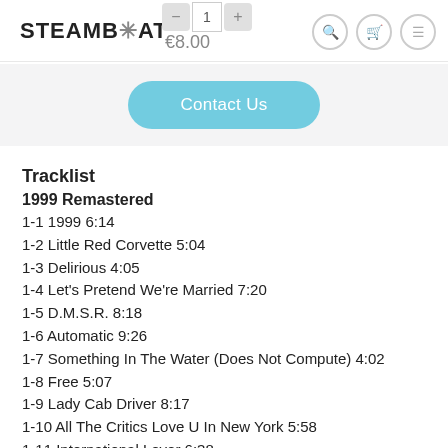STEAMBOAT  €8.00
Contact Us
Tracklist
1999 Remastered
1-1 1999 6:14
1-2 Little Red Corvette 5:04
1-3 Delirious 4:05
1-4 Let's Pretend We're Married 7:20
1-5 D.M.S.R. 8:18
1-6 Automatic 9:26
1-7 Something In The Water (Does Not Compute) 4:02
1-8 Free 5:07
1-9 Lady Cab Driver 8:17
1-10 All The Critics Love U In New York 5:58
1-11 International Lover 6:38